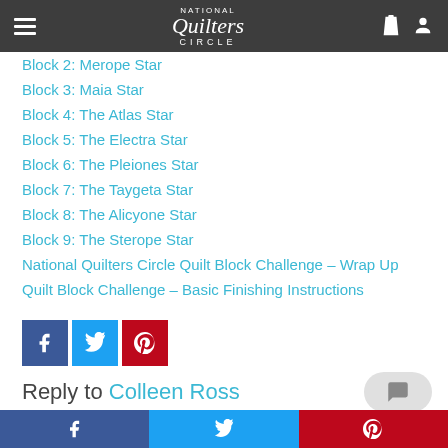National Quilters Circle
Block 2: Merope Star
Block 3: Maia Star
Block 4: The Atlas Star
Block 5: The Electra Star
Block 6: The Pleiones Star
Block 7: The Taygeta Star
Block 8: The Alicyone Star
Block 9: The Sterope Star
National Quilters Circle Quilt Block Challenge – Wrap Up
Quilt Block Challenge – Basic Finishing Instructions
[Figure (infographic): Social share buttons: Facebook, Twitter, Pinterest]
Reply to Colleen Ross
Facebook | Twitter | Pinterest share bar